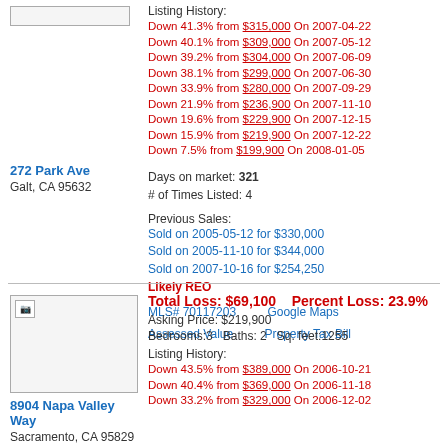[Figure (photo): Property image placeholder for 272 Park Ave]
272 Park Ave
Galt, CA 95632
Listing History:
Down 41.3% from $315,000 On 2007-04-22
Down 40.1% from $309,000 On 2007-05-12
Down 39.2% from $304,000 On 2007-06-09
Down 38.1% from $299,000 On 2007-06-30
Down 33.9% from $280,000 On 2007-09-29
Down 21.9% from $236,900 On 2007-11-10
Down 19.6% from $229,900 On 2007-12-15
Down 15.9% from $219,900 On 2007-12-22
Down 7.5% from $199,900 On 2008-01-05
Days on market: 321
# of Times Listed: 4
Previous Sales:
Sold on 2005-05-12 for $330,000
Sold on 2005-11-10 for $344,000
Sold on 2007-10-16 for $254,250
Likely REO
MLS# 70117203    Google Maps
Assessed Value    Property Tax Bill
[Figure (photo): Property image placeholder for 8904 Napa Valley Way]
Total Loss: $69,100    Percent Loss: 23.9%
Asking Price: $219,900
Bedrooms:3   Baths: 2   Sq. feet:1255
Listing History:
Down 43.5% from $389,000 On 2006-10-21
Down 40.4% from $369,000 On 2006-11-18
Down 33.2% from $329,000 On 2006-12-02
8904 Napa Valley Way
Sacramento, CA 95829